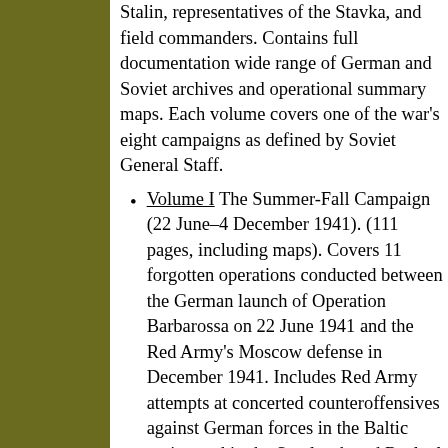Stalin, representatives of the Stavka, and field commanders. Contains full documentary wide range of German and Soviet archives and operational summary maps. Each volume covers one of the war's eight campaigns as defined by Soviet General Staff.
Volume I The Summer-Fall Campaign (22 June–4 December 1941). (111 pages, including maps). Covers 11 forgotten operations conducted between the German launch of Operation Barbarossa on 22 June 1941 and the Red Army's Moscow defense in December 1941. Includes Red Army attempts at concerted counteroffensives against German forces in the Baltic region and in the Smolensk and Roslavl areas. Price: $30 or €20.
Volume II The Winter Campaign (5 December 1941-27 April 1942). (158 pages, including maps). Covers 8 forgotten operations between the beginning of the Red Army's Moscow counteroffensive and the end of the Winter Campaign. Includes detailed counteroffensives near Orel, Kur...